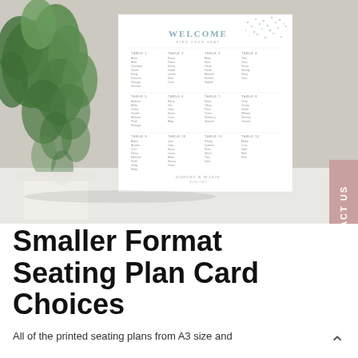[Figure (photo): A wedding seating plan card displayed on a white surface, with green trailing plants/foliage decoration on the left side. The card reads WELCOME / FIND YOUR SEAT at the top with decorative dot confetti, followed by multiple table columns listing guest names.]
Smaller Format Seating Plan Card Choices
All of the printed seating plans from A3 size and